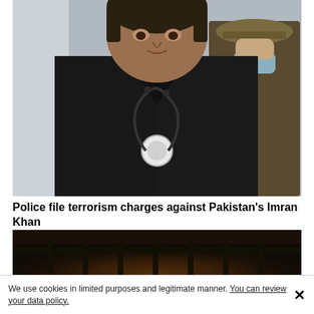[Figure (photo): A man in a dark suit with a stethoscope around his neck, looking directly at the camera. Behind him stands a uniformed military officer wearing a blue face mask. Background is blurred outdoor setting.]
Police file terrorism charges against Pakistan’s Imran Khan
[Figure (photo): A dark scene with orange and yellow fire or explosion visible in the lower portion, with dark structures or gates in the background.]
We use cookies in limited purposes and legitimate manner. You can review your data policy.